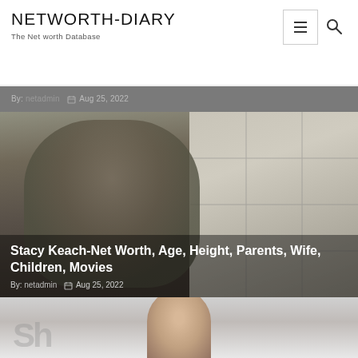NETWORTH-DIARY
The Net worth Database
By: netadmin  Aug 25, 2022
[Figure (photo): Photo of Stacy Keach, middle-aged man with gray slicked hair and goatee wearing dark suit jacket, in front of a gridded window]
Stacy Keach-Net Worth, Age, Height, Parents, Wife, Children, Movies
By: netadmin  Aug 25, 2022
[Figure (photo): Partially visible photo of another person's face at bottom of page]